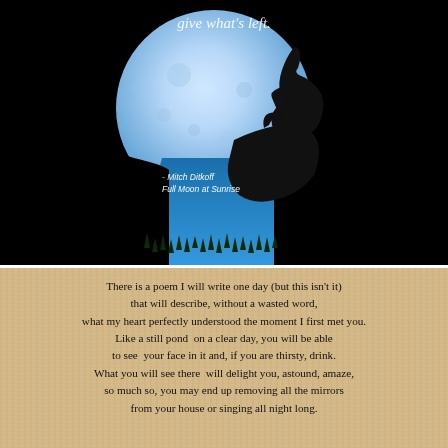[Figure (illustration): Night scene with a large glowing blue-white full moon against a black sky. A wolf silhouette stands on a rocky cliff howling at the moon. Below the cliff, a blue twilight gradient sky with dark tree silhouettes on the horizon. Quote text overlaid at top reading 'give what's left.' with attribution to Mitch Ditkoff, Full Moon at Sunrise.]
There is a poem I will write one day (but this isn't it) that will describe, without a wasted word, what my heart perfectly understood the moment I first met you. Like a still pond  on a clear day, you will be able to see  your face in it and, if you are thirsty, drink. What you will see there  will delight you, astound, amaze, so much so, you may end up removing all the mirrors from your house or singing all night long.